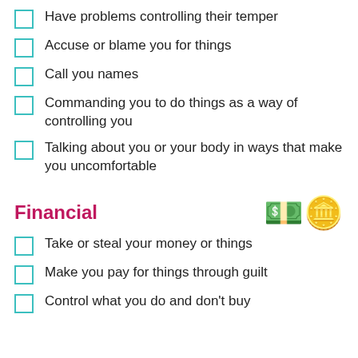Have problems controlling their temper
Accuse or blame you for things
Call you names
Commanding you to do things as a way of controlling you
Talking about you or your body in ways that make you uncomfortable
Financial
Take or steal your money or things
Make you pay for things through guilt
Control what you do and don't buy